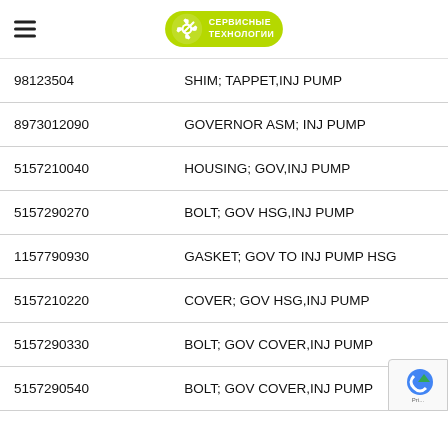Сервисные Технологии
| Part Number | Description |
| --- | --- |
| 98123504 | SHIM; TAPPET,INJ PUMP |
| 8973012090 | GOVERNOR ASM; INJ PUMP |
| 5157210040 | HOUSING; GOV,INJ PUMP |
| 5157290270 | BOLT; GOV HSG,INJ PUMP |
| 1157790930 | GASKET; GOV TO INJ PUMP HSG |
| 5157210220 | COVER; GOV HSG,INJ PUMP |
| 5157290330 | BOLT; GOV COVER,INJ PUMP |
| 5157290540 | BOLT; GOV COVER,INJ PUMP |